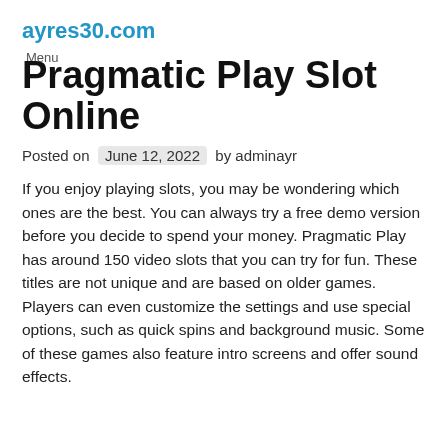ayres30.com
Menu
Pragmatic Play Slot Online
Posted on June 12, 2022 by adminayr
If you enjoy playing slots, you may be wondering which ones are the best. You can always try a free demo version before you decide to spend your money. Pragmatic Play has around 150 video slots that you can try for fun. These titles are not unique and are based on older games. Players can even customize the settings and use special options, such as quick spins and background music. Some of these games also feature intro screens and offer sound effects.